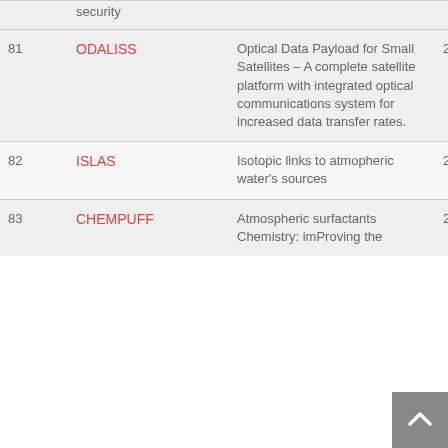| # | Name | Description | Year |
| --- | --- | --- | --- |
|  | security |  |  |
| 81 | ODALISS | Optical Data Payload for Small Satellites – A complete satellite platform with integrated optical communications system for increased data transfer rates. | 2018 |
| 82 | ISLAS | Isotopic links to atmopheric water's sources | 2018 |
| 83 | CHEMPUFF | Atmospheric surfactants Chemistry: imProving the | 2018 |